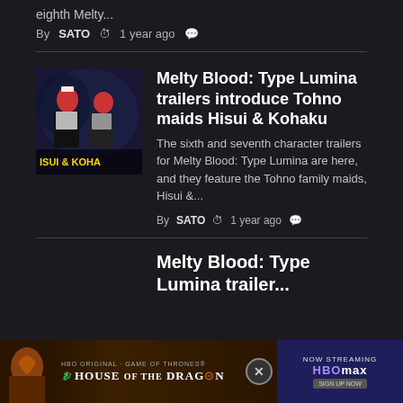eighth Melty...
By SATO  🕐 1 year ago  💬
[Figure (screenshot): Thumbnail image showing two anime characters (Hisui and Kohaku) from Melty Blood Type Lumina, with text overlay reading ISUI & KOHA]
Melty Blood: Type Lumina trailers introduce Tohno maids Hisui & Kohaku
The sixth and seventh character trailers for Melty Blood: Type Lumina are here, and they feature the Tohno family maids, Hisui &...
By SATO  🕐 1 year ago  💬
Melty Blood: Type Lumina trailer...
[Figure (screenshot): Advertisement banner for HBO Original Game of Dragons: House of the Dragon, Now Streaming on HBOmax]